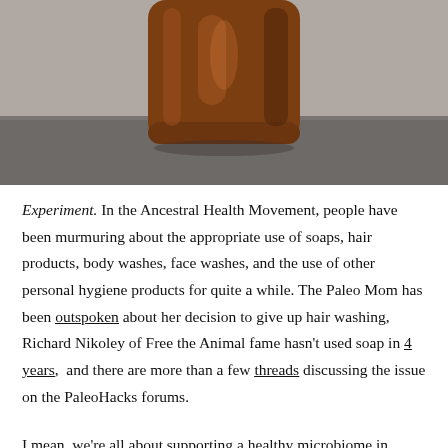[Figure (photo): Amber/brown glass bottle photographed against a grey background, sitting on a dark grey surface. Only the bottom portion of the bottle is visible, cropped at top.]
Experiment. In the Ancestral Health Movement, people have been murmuring about the appropriate use of soaps, hair products, body washes, face washes, and the use of other personal hygiene products for quite a while. The Paleo Mom has been outspoken about her decision to give up hair washing, Richard Nikoley of Free the Animal fame hasn't used soap in 4 years, and there are more than a few threads discussing the issue on the PaleoHacks forums.
I mean, we're all about supporting a healthy microbiome in